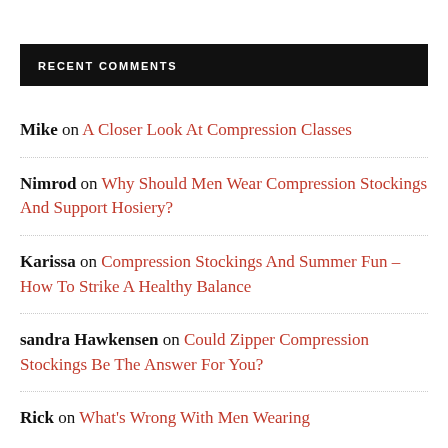RECENT COMMENTS
Mike on A Closer Look At Compression Classes
Nimrod on Why Should Men Wear Compression Stockings And Support Hosiery?
Karissa on Compression Stockings And Summer Fun – How To Strike A Healthy Balance
sandra Hawkensen on Could Zipper Compression Stockings Be The Answer For You?
Rick on What's Wrong With Men Wearing